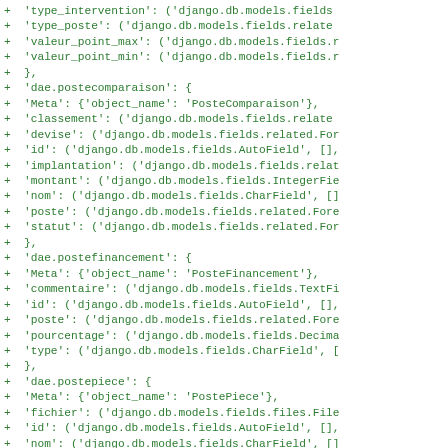Code diff showing Django model fields for dae.postecomparaison, dae.postefinancement, dae.postepiece, and dae.remuneration